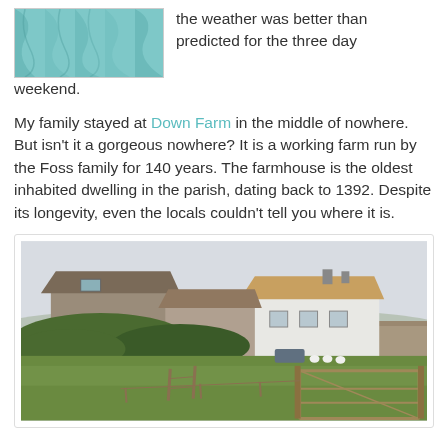[Figure (photo): Close-up photo of teal/turquoise fabric or textile with folds]
the weather was better than predicted for the three day weekend.
My family stayed at Down Farm in the middle of nowhere. But isn't it a gorgeous nowhere? It is a working farm run by the Foss family for 140 years. The farmhouse is the oldest inhabited dwelling in the parish, dating back to 1392. Despite its longevity, even the locals couldn't tell you where it is.
[Figure (photo): Photograph of Down Farm showing stone farm buildings, a white farmhouse with thatched roof, green fields with geese, a wooden farm gate in the foreground, and an overcast sky]